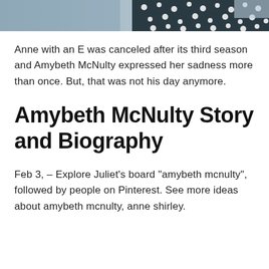[Figure (photo): Cropped photo strip showing two people, one in a floral/dotted top on the right side, partial view only]
Anne with an E was canceled after its third season and Amybeth McNulty expressed her sadness more than once. But, that was not his day anymore.
Amybeth McNulty Story and Biography
Feb 3, – Explore Juliet's board "amybeth mcnulty", followed by people on Pinterest. See more ideas about amybeth mcnulty, anne shirley.